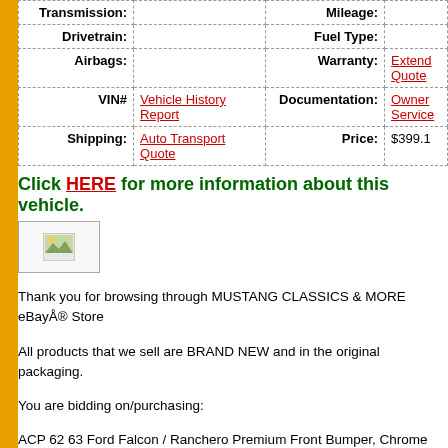| Label | Value | Label | Value |
| --- | --- | --- | --- |
| Transmission: |  | Mileage: |  |
| Drivetrain: |  | Fuel Type: |  |
| Airbags: |  | Warranty: | Extended Quote |
| VIN# | Vehicle History Report | Documentation: | Owner Service |
| Shipping: | Auto Transport Quote | Price: | $399.1 |
Click HERE for more information about this vehicle.
[Figure (photo): Small image placeholder thumbnail]
Thank you for browsing through MUSTANG CLASSICS & MORE eBayÂ® Store
All products that we sell are BRAND NEW and in the original packaging.
You are bidding on/purchasing:
ACP 62 63 Ford Falcon / Ranchero Premium Front Bumper, Chrome
GENERAL INFORMATION